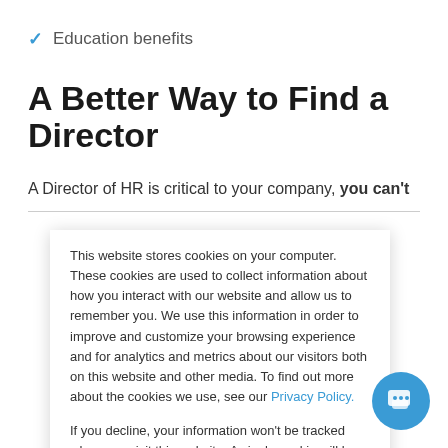Education benefits
A Better Way to Find a Director
A Director of HR is critical to your company, you can't
This website stores cookies on your computer. These cookies are used to collect information about how you interact with our website and allow us to remember you. We use this information in order to improve and customize your browsing experience and for analytics and metrics about our visitors both on this website and other media. To find out more about the cookies we use, see our Privacy Policy.
If you decline, your information won't be tracked when you visit this website. A single cookie will be used in your browser to remember your preference not to be tracked.
Cookies settings | Accept | Decline